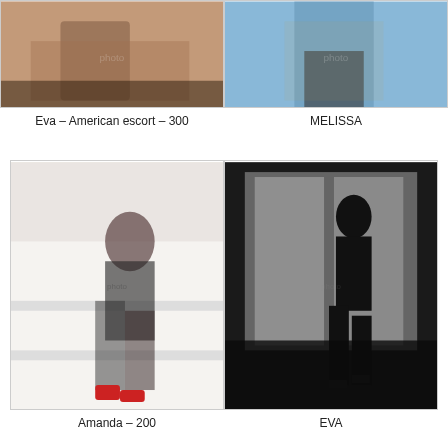[Figure (photo): Cropped photo of a person's torso/hands on left side]
[Figure (photo): Cropped photo of a person seated on a chair on right side]
Eva – American escort – 300
MELISSA
[Figure (photo): Woman in black lingerie with fishnet stockings and red heels sitting on white stairs]
[Figure (photo): Black and white silhouette of a woman posing by a window]
Amanda – 200
EVA